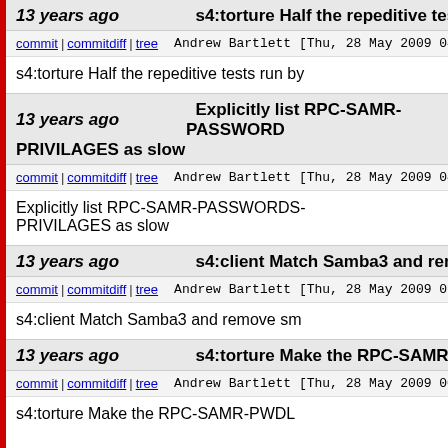13 years ago | s4:torture Half the repeditive tests run...
commit | commitdiff | tree   Andrew Bartlett [Thu, 28 May 2009 04...
s4:torture Half the repeditive tests run by...
13 years ago | Explicitly list RPC-SAMR-PASSWORDS-PRIVILAGES as slow
commit | commitdiff | tree   Andrew Bartlett [Thu, 28 May 2009 04...
Explicitly list RPC-SAMR-PASSWORDS-PRIVILAGES as slow
13 years ago | s4:client Match Samba3 and remove s...
commit | commitdiff | tree   Andrew Bartlett [Thu, 28 May 2009 01...
s4:client Match Samba3 and remove sm...
13 years ago | s4:torture Make the RPC-SAMR-PWDL...
commit | commitdiff | tree   Andrew Bartlett [Thu, 28 May 2009 00...
s4:torture Make the RPC-SAMR-PWDL...